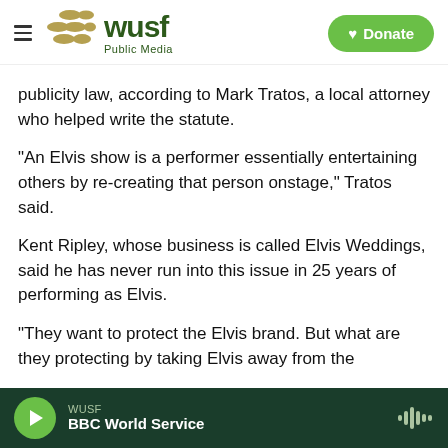WUSF Public Media — Donate
publicity law, according to Mark Tratos, a local attorney who helped write the statute.
"An Elvis show is a performer essentially entertaining others by re-creating that person onstage," Tratos said.
Kent Ripley, whose business is called Elvis Weddings, said he has never run into this issue in 25 years of performing as Elvis.
"They want to protect the Elvis brand. But what are they protecting by taking Elvis away from the
WUSF — BBC World Service